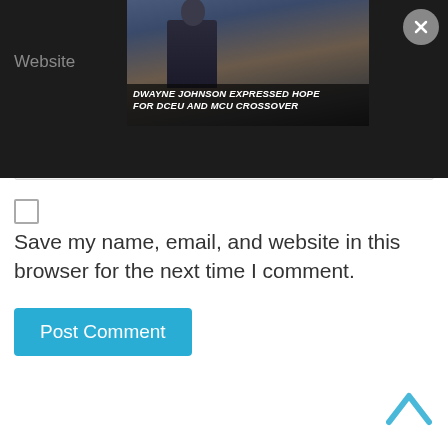[Figure (screenshot): Dark banner with an advertisement popup showing a person in black costume with text 'DWAYNE JOHNSON EXPRESSED HOPE FOR DCEU AND MCU CROSSOVER' and a grey circle close button with X]
Website
Save my name, email, and website in this browser for the next time I comment.
Post Comment
[Figure (other): Blue upward chevron/arrow back-to-top button]